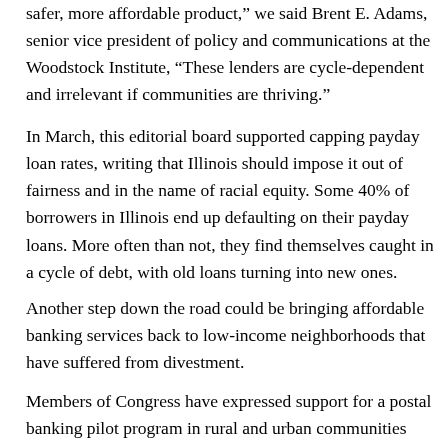safer, more affordable product,” we said Brent E. Adams, senior vice president of policy and communications at the Woodstock Institute, “These lenders are cycle-dependent and irrelevant if communities are thriving.”
In March, this editorial board supported capping payday loan rates, writing that Illinois should impose it out of fairness and in the name of racial equity. Some 40% of borrowers in Illinois end up defaulting on their payday loans. More often than not, they find themselves caught in a cycle of debt, with old loans turning into new ones.
Another step down the road could be bringing affordable banking services back to low-income neighborhoods that have suffered from divestment.
Members of Congress have expressed support for a postal banking pilot program in rural and urban communities across America. The objective would be for the government to learn from